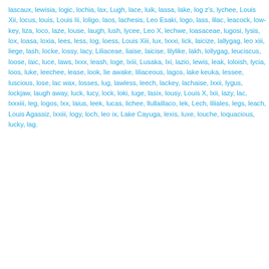lascaux, lewisia, logic, lochia, lax, Lugh, lace, luik, lassa, lake, log z's, lychee, Louis Xii, locus, louis, Louis Iii, loligo, laos, lachesis, Leo Esaki, logo, lass, lilac, leacock, low-key, liza, loco, laze, louse, laugh, lush, lycee, Leo X, lechwe, loasaceae, lugosi, lysis, lox, loasa, loxia, lees, less, log, loess, Louis Xiii, lux, lxxxi, lick, laicize, lallygag, leo xiii, liege, lash, locke, lossy, lacy, Liliaceae, liaise, laicise, lilylike, lakh, lollygag, leuciscus, loose, laic, luce, laws, lxxx, leash, loge, lxiii, Lusaka, lxi, lazio, lewis, leak, loloish, lycia, loos, luke, leechee, lease, look, lie awake, liliaceous, lagos, lake keuka, lessee, luscious, lose, lac wax, losses, lug, lawless, leech, lackey, lachaise, lxxii, lygus, lockjaw, laugh away, luck, lucy, lock, loki, luge, lasix, lousy, Louis X, lxii, lazy, lac, lxxxiii, leg, logos, lxx, laius, leek, lucas, lichee, llullaillaco, lek, Lech, liliales, legs, leach, Louis Agassiz, lxxiii, logy, loch, leo ix, Lake Cayuga, lexis, luxe, louche, loquacious, lucky, lag.